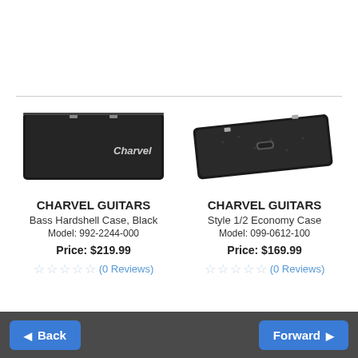[Figure (photo): Black rectangular hardshell guitar case with Charvel logo, viewed from above]
CHARVEL GUITARS
Bass Hardshell Case, Black
Model: 992-2244-000
Price: $219.99
(0 Reviews)
[Figure (photo): Black rectangular hardshell guitar case with handle, viewed at slight angle]
CHARVEL GUITARS
Style 1/2 Economy Case
Model: 099-0612-100
Price: $169.99
(0 Reviews)